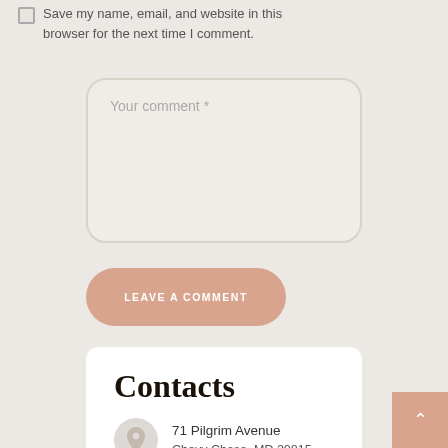Save my name, email, and website in this browser for the next time I comment.
Your comment *
LEAVE A COMMENT
Contacts
71 Pilgrim Avenue
Chevy Chase, MD 20815